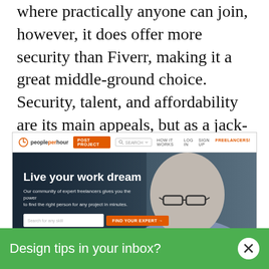where practically anyone can join, however, it does offer more security than Fiverr, making it a great middle-ground choice. Security, talent, and affordability are its main appeals, but as a jack-of-all-trades, PeoplePerHour is a master of none.
[Figure (screenshot): Screenshot of the PeoplePerHour website homepage showing the navbar with 'POST PROJECT', 'SEARCH', 'HOW IT WORKS', 'LOG IN', 'SIGN UP', 'FREELANCERS!' links, and a hero section with the text 'Live your work dream' and a photo of a bald man with glasses named Martin, Owner of Peckham Rye tailors.]
Design tips in your inbox?